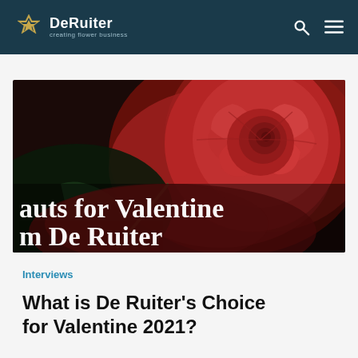DeRuiter creating flower business
[Figure (photo): Close-up of a deep red rose on a dark background with overlaid text reading 'auts for Valentine m De Ruiter']
Interviews
What is De Ruiter’s Choice for Valentine 2021?